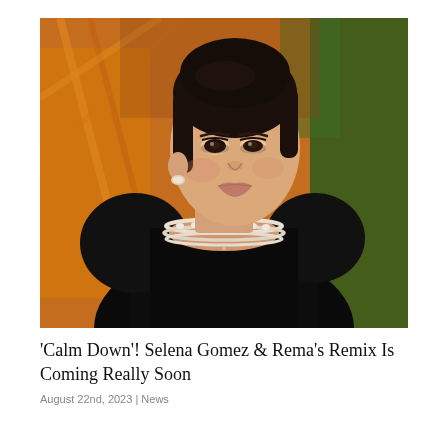[Figure (photo): A woman with dark hair pulled back, wearing a black velvet dress with dramatic puffed shoulders and a multi-strand pearl/diamond choker necklace. She is posed against an orange decorative backdrop with green foliage visible. She has subtle makeup and stud earrings.]
'Calm Down'! Selena Gomez & Rema's Remix Is Coming Really Soon
August 22nd, 2023 | News